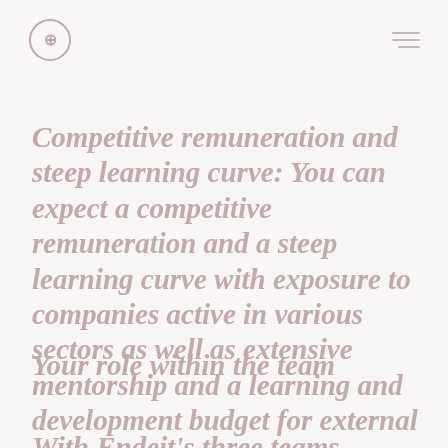Competitive remuneration and steep learning curve: You can expect a competitive remuneration and a steep learning curve with exposure to companies active in various sectors as well as extensive mentorship and a learning and development budget for external courses.
Your role within the team
With Endeit's three teams covering the DACH, Nordics or Benelux region, each team consists of 3 to 5 persons. The Benelux team consists currently b: